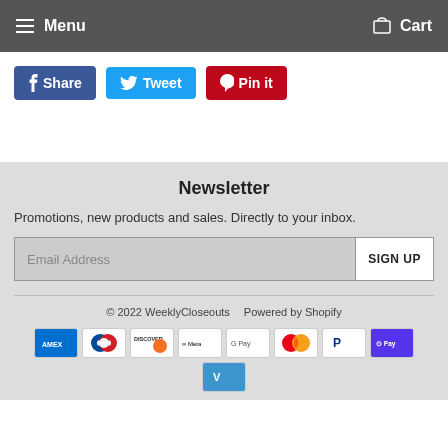Menu  Cart
Share  Tweet  Pin it
Newsletter
Promotions, new products and sales. Directly to your inbox.
Email Address  SIGN UP
© 2022 WeeklyCloseouts  Powered by Shopify